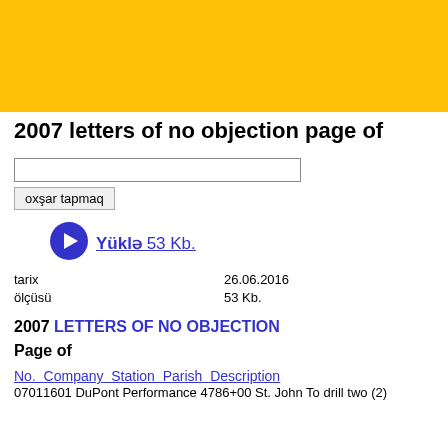2007 letters of no objection page of
oxşar tapmaq
[Figure (other): Blue circle with white right-arrow icon (download button)]
Yüklə 53 Kb.
| tarix | 26.06.2016 |
| --- | --- |
| ölçüsü | 53 Kb. |
2007 LETTERS OF NO OBJECTION
Page of
No. Company Station Parish Description
07011601 DuPont Performance 4786+00 St. John To drill two (2)